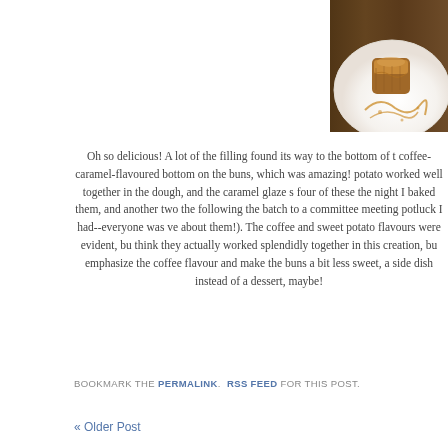[Figure (photo): A food photo showing a baked bun or pastry on a white plate with caramel sauce drizzled around it, shot from above on a wooden surface.]
Oh so delicious! A lot of the filling found its way to the bottom of the buns, creating a coffee-caramel-flavoured bottom on the buns, which was amazing! The coffee and sweet potato worked well together in the dough, and the caramel glaze set beautifully. I ate four of these the night I baked them, and another two the following day, and brought the batch to a committee meeting potluck I had--everyone was very enthusiastic about them!). The coffee and sweet potato flavours were evident, but somehow I think they actually worked splendidly together in this creation, but if I were to emphasize the coffee flavour and make the buns a bit less sweet, as could be a side dish instead of a dessert, maybe!
BOOKMARK THE PERMALINK.  RSS FEED FOR THIS POST.
« Older Post